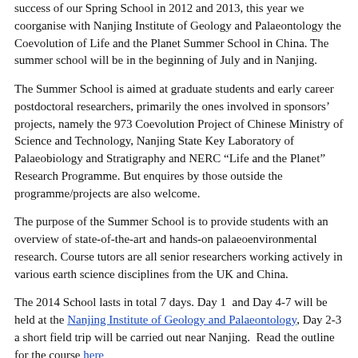success of our Spring School in 2012 and 2013, this year we coorganise with Nanjing Institute of Geology and Palaeontology the Coevolution of Life and the Planet Summer School in China. The summer school will be in the beginning of July and in Nanjing.
The Summer School is aimed at graduate students and early career postdoctoral researchers, primarily the ones involved in sponsors' projects, namely the 973 Coevolution Project of Chinese Ministry of Science and Technology, Nanjing State Key Laboratory of Palaeobiology and Stratigraphy and NERC “Life and the Planet” Research Programme. But enquires by those outside the programme/projects are also welcome.
The purpose of the Summer School is to provide students with an overview of state-of-the-art and hands-on palaeoenvironmental research. Course tutors are all senior researchers working actively in various earth science disciplines from the UK and China.
The 2014 School lasts in total 7 days. Day 1 and Day 4-7 will be held at the Nanjing Institute of Geology and Palaeontology, Day 2-3 a short field trip will be carried out near Nanjing. Read the outline for the course here
]]> http://descentintotheicehouse.org.uk/past-and-future-co2/ Sun, 23 Mar 2014 19:47:37 +0000